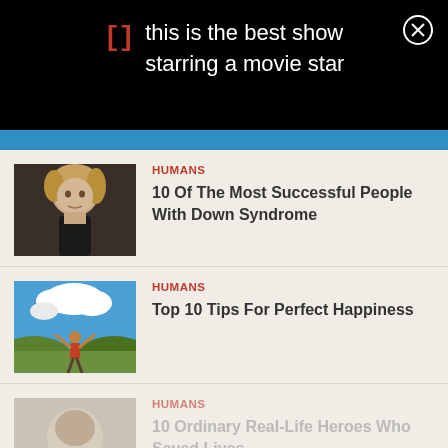this is the best show starring a movie star
[Figure (photo): Young person with Down Syndrome, blonde hair]
HUMANS
10 Of The Most Successful People With Down Syndrome
[Figure (photo): Person sitting on hilltop with arms raised against blue sky with clouds]
HUMANS
Top 10 Tips For Perfect Happiness
[Figure (photo): Partial image of person, faded]
HUMANS
10 Ordinary Real-Life Heroes Who Saved Lives